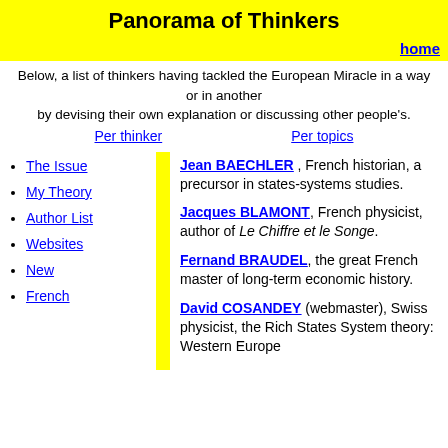Panorama of Thinkers
home
Below, a list of thinkers having tackled the European Miracle in a way or in another by devising their own explanation or discussing other people's.
Per thinker   Per topics
The Issue
My Theory
Author List
Websites
New
French
Jean BAECHLER , French historian, a precursor in states-systems studies.
Jacques BLAMONT, French physicist, author of Le Chiffre et le Songe.
Fernand BRAUDEL, the great French master of long-term economic history.
David COSANDEY (webmaster), Swiss physicist, the Rich States System theory: Western Europe